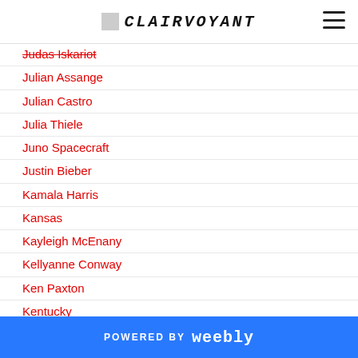CLAIRVOYANT
Judas Iskariot
Julian Assange
Julian Castro
Julia Thiele
Juno Spacecraft
Justin Bieber
Kamala Harris
Kansas
Kayleigh McEnany
Kellyanne Conway
Ken Paxton
Kentucky
Kering
Kevin McCarthy (Republican Party
Khalid Bin Ali Al Humaidan ( Director Of Saudi Arabia's
POWERED BY weebly